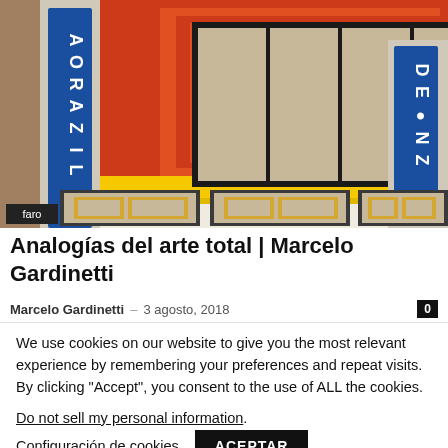[Figure (illustration): Architectural artwork illustration showing geometric patterns with red, orange, yellow, tan/beige panels, black frames, and blue lettering on sides. Lower portion shows three sectioned bench/wall panels. Tag 'faro' in black bottom left.]
Analogías del arte total | Marcelo Gardinetti
Marcelo Gardinetti — 3 agosto, 2018  0
We use cookies on our website to give you the most relevant experience by remembering your preferences and repeat visits. By clicking "Accept", you consent to the use of ALL the cookies.
Do not sell my personal information.
Configuración de cookies   ACEPTAR